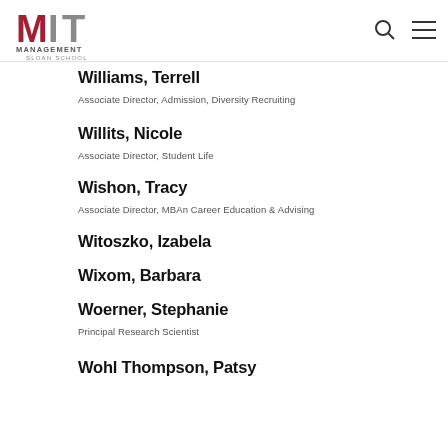MIT Management Sloan School
Williams, Terrell
Associate Director, Admission, Diversity Recruiting
Willits, Nicole
Associate Director, Student Life
Wishon, Tracy
Associate Director, MBAn Career Education & Advising
Witoszko, Izabela
Wixom, Barbara
Woerner, Stephanie
Principal Research Scientist
Wohl Thompson, Patsy